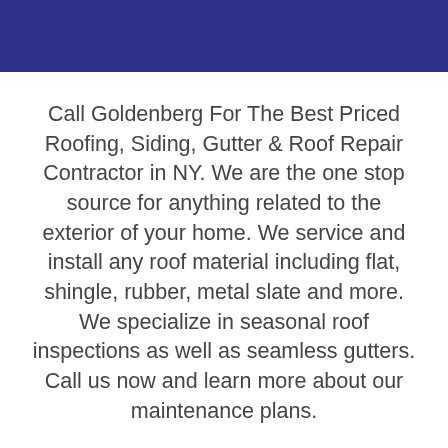Call Goldenberg For The Best Priced Roofing, Siding, Gutter & Roof Repair Contractor in NY. We are the one stop source for anything related to the exterior of your home. We service and install any roof material including flat, shingle, rubber, metal slate and more. We specialize in seasonal roof inspections as well as seamless gutters. Call us now and learn more about our maintenance plans.